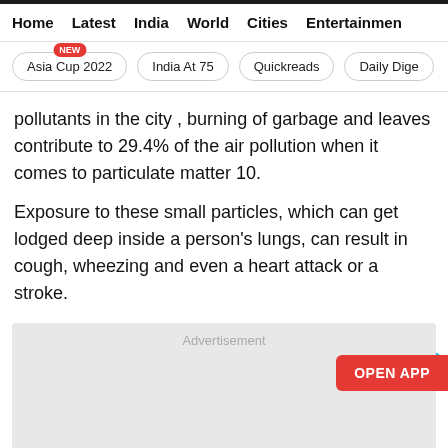Home   Latest   India   World   Cities   Entertainment
Asia Cup 2022 NEW
India At 75
Quickreads
Daily Dige
pollutants in the city , burning of garbage and leaves contribute to 29.4% of the air pollution when it comes to particulate matter 10.
Exposure to these small particles, which can get lodged deep inside a person's lungs, can result in cough, wheezing and even a heart attack or a stroke.
[Figure (other): Advertisement placeholder box with OPEN APP button]
Advertisement